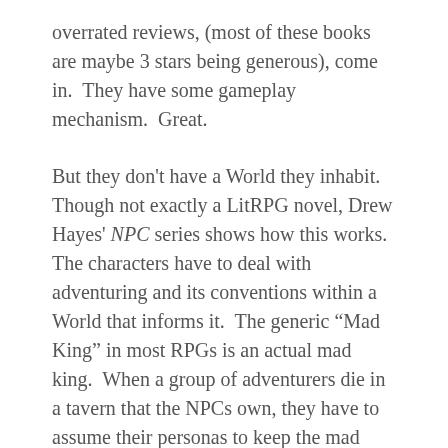overrated reviews, (most of these books are maybe 3 stars being generous), come in.  They have some gameplay mechanism.  Great.
But they don't have a World they inhabit.  Though not exactly a LitRPG novel, Drew Hayes' NPC series shows how this works.  The characters have to deal with adventuring and its conventions within a World that informs it.  The generic “Mad King” in most RPGs is an actual mad king.  When a group of adventurers die in a tavern that the NPCs own, they have to assume their personas to keep the mad king from destroying their village.
Outside from mechanics, some of the offenders like this and this don't have any real world or settings.  I